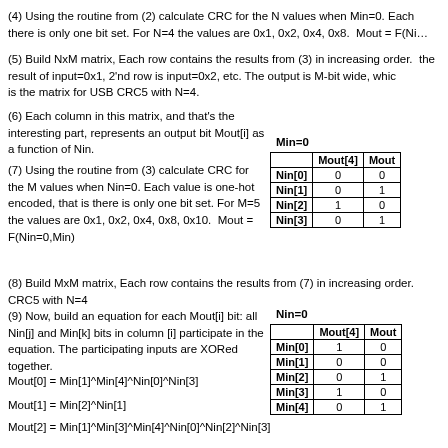(4) Using the routine from (2) calculate CRC for the N values when Min=0. Each there is only one bit set. For N=4 the values are 0x1, 0x2, 0x4, 0x8. Mout = F(Ni…
(5) Build NxM matrix, Each row contains the results from (3) in increasing order. the result of input=0x1, 2'nd row is input=0x2, etc. The output is M-bit wide, whic is the matrix for USB CRC5 with N=4.
(6) Each column in this matrix, and that's the interesting part, represents an output bit Mout[i] as a function of Nin.
Min=0
|  | Mout[4] | Mout… |
| --- | --- | --- |
| Nin[0] | 0 | 0 |
| Nin[1] | 0 | 1 |
| Nin[2] | 1 | 0 |
| Nin[3] | 0 | 1 |
(7) Using the routine from (3) calculate CRC for the M values when Nin=0. Each value is one-hot encoded, that is there is only one bit set. For M=5 the values are 0x1, 0x2, 0x4, 0x8, 0x10. Mout = F(Nin=0,Min)
(8) Build MxM matrix, Each row contains the results from (7) in increasing order. CRC5 with N=4
(9) Now, build an equation for each Mout[i] bit: all Nin[j] and Min[k] bits in column [i] participate in the equation. The participating inputs are XORed together.
Nin=0
|  | Mout[4] | Mout… |
| --- | --- | --- |
| Min[0] | 1 | 0 |
| Min[1] | 0 | 0 |
| Min[2] | 0 | 1 |
| Min[3] | 1 | 0 |
| Min[4] | 0 | 1 |